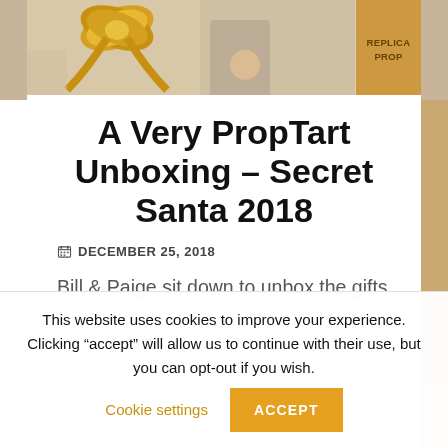[Figure (photo): Top banner photo showing a golden gift bow on the left side and a cardboard box labeled 'REPLICA PROP' on the right side]
A Very PropTart Unboxing – Secret Santa 2018
DECEMBER 25, 2018
Bill & Paige sit down to unbox the gifts they received from the PropTart
This website uses cookies to improve your experience. Clicking "accept" will allow us to continue with their use, but you can opt-out if you wish.  Cookie settings  ACCEPT